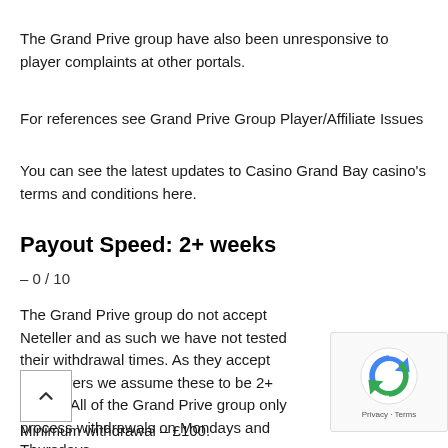The Grand Prive group have also been unresponsive to player complaints at other portals.
For references see Grand Prive Group Player/Affiliate Issues
You can see the latest updates to Casino Grand Bay casino's terms and conditions here.
Payout Speed: 2+ weeks
– 0 / 10
The Grand Prive group do not accept Neteller and as such we have not tested their withdrawal times. As they accept US players we assume these to be 2+ weeks. All of the Grand Prive group only process withdrawals on Mondays and Thursdays.
Minimum withdrawal – £100.